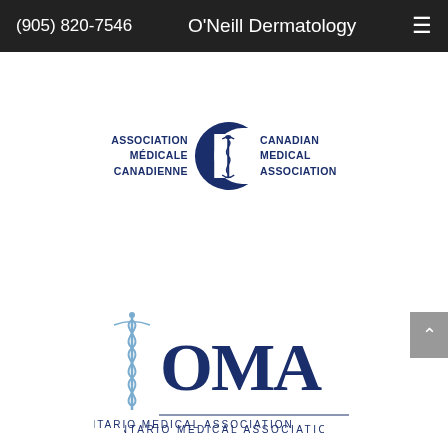(905) 820-7546   O'Neill Dermatology   ≡
[Figure (logo): Canadian Medical Association / Association Médicale Canadienne bilingual logo with Rod of Asclepius symbol inside a C shape]
[Figure (logo): Ontario Medical Association (OMA) logo with Rod of Asclepius and text 'ONTARIO MEDICAL ASSOCIATION']